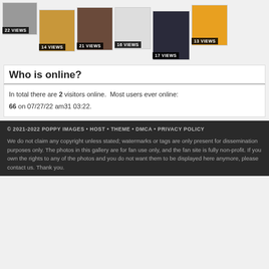[Figure (photo): Grid of celebrity photo thumbnails with view counts: 22 VIEWS, 14 VIEWS, 21 VIEWS, 16 VIEWS, 17 VIEWS, 13 VIEWS]
Who is online?
In total there are 2 visitors online.  Most users ever online: 66 on 07/27/22 am31 03:22.
© 2021-2022 POPPY IMAGES • HOST • THEME • DMCA • PRIVACY POLICY
We do not claim any copyright unless stated; watermarks or tags are only present for dissemination purposes only. The photos in this gallery are for fan use only, and the fan site is fully non-profit. If you own the rights to any of the photos and you do not want them to be displayed here anymore, please contact us. Thank you.